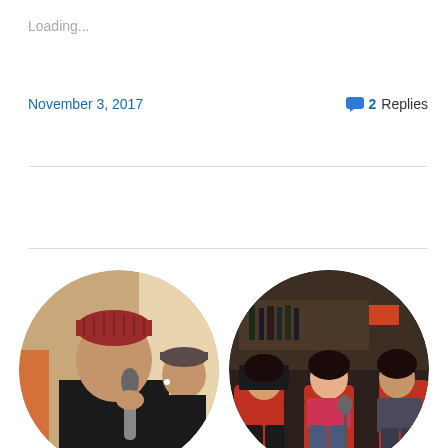Loading...
November 3, 2017
2 Replies
[Figure (photo): Circular cropped photo of a person wearing a red knit hat and black jacket speaking into a microphone, with another person in a hat visible in the background]
[Figure (photo): Circular cropped photo of three women seated in red chairs in a dimly lit room, appearing to be at a panel or discussion event]